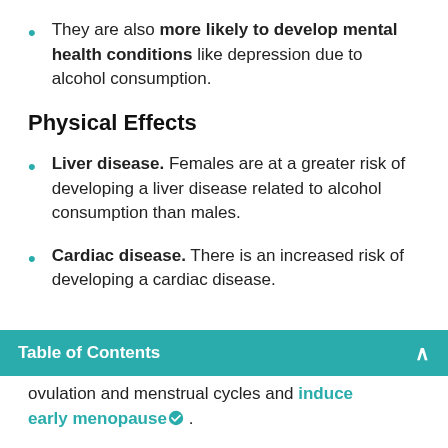They are also more likely to develop mental health conditions like depression due to alcohol consumption.
Physical Effects
Liver disease. Females are at a greater risk of developing a liver disease related to alcohol consumption than males.
Cardiac disease. There is an increased risk of developing a cardiac disease.
Table of Contents
ovulation and menstrual cycles and induce early menopause.